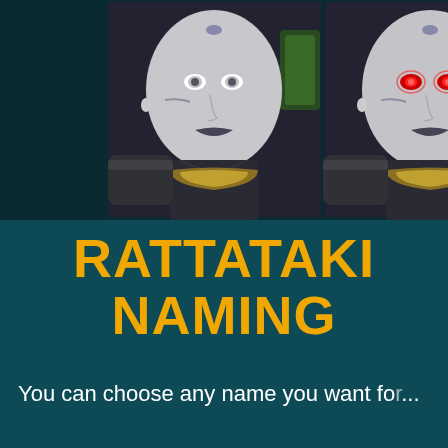[Figure (screenshot): Side-by-side screenshots of a Rattataki character from a video game (likely Star Wars: The Old Republic). Left image shows the character with pale skin and normal eyes; right image shows the same character with glowing red eyes. Both show a pale-skinned, bald humanoid female with dark lips and armor with gold accents.]
RATTATAKI NAMING
You can choose any name you want for... no... of co...